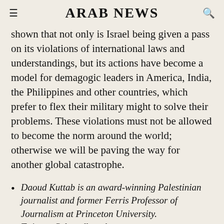ARAB NEWS
shown that not only is Israel being given a pass on its violations of international laws and understandings, but its actions have become a model for demagogic leaders in America, India, the Philippines and other countries, which prefer to flex their military might to solve their problems. These violations must not be allowed to become the norm around the world; otherwise we will be paving the way for another global catastrophe.
Daoud Kuttab is an award-winning Palestinian journalist and former Ferris Professor of Journalism at Princeton University. Twitter: @daoudkuttab